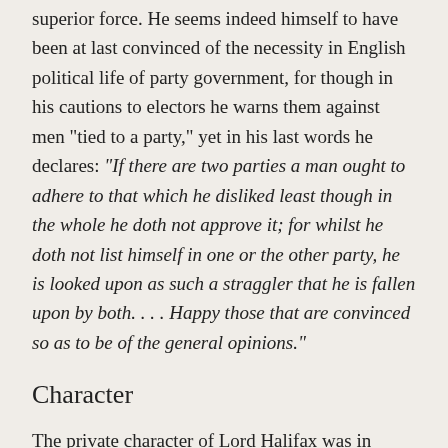superior force. He seems indeed himself to have been at last convinced of the necessity in English political life of party government, for though in his cautions to electors he warns them against men "tied to a party," yet in his last words he declares: "If there are two parties a man ought to adhere to that which he disliked least though in the whole he doth not approve it; for whilst he doth not list himself in one or the other party, he is looked upon as such a straggler that he is fallen upon by both. . . . Happy those that are convinced so as to be of the general opinions."
Character
The private character of Lord Halifax was in harmony with his public career. He was by no means the "voluptuary" described by Macaulay. He was on the contrary free from self-indulgence; his manner of life was decent and frugal, and his dress proverbially simple. He was an affectionate father and husband. "His heart," says Burnet, "was much